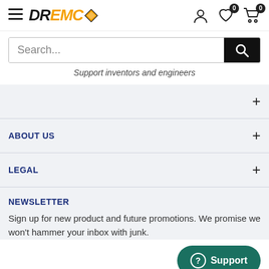[Figure (logo): DREMC logo with diamond icon, hamburger menu on left, user/heart/cart icons on right]
Search...
Support inventors and engineers
ABOUT US
LEGAL
NEWSLETTER
Sign up for new product and future promotions. We promise we won't hammer your inbox with junk.
[Figure (screenshot): Support button with circle question mark icon]